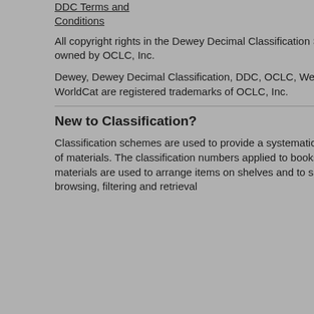DDC Terms and Conditions
All copyright rights in the Dewey Decimal Classification System are owned by OCLC, Inc.
Dewey, Dewey Decimal Classification, DDC, OCLC, WebDewey and WorldCat are registered trademarks of OCLC, Inc.
New to Classification?
Classification schemes are used to provide a systematic arrangement of materials. The classification numbers applied to books and other materials are used to arrange items on shelves and to support browsing, filtering and retrieval